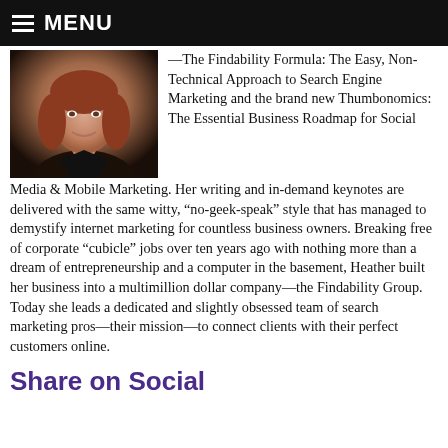MENU
[Figure (photo): Headshot of a woman with reddish-brown hair, smiling, wearing a dark jacket, set against a dark background.]
—The Findability Formula: The Easy, Non-Technical Approach to Search Engine Marketing and the brand new Thumbonomics: The Essential Business Roadmap for Social Media & Mobile Marketing. Her writing and in-demand keynotes are delivered with the same witty, “no-geek-speak” style that has managed to demystify internet marketing for countless business owners. Breaking free of corporate “cubicle” jobs over ten years ago with nothing more than a dream of entrepreneurship and a computer in the basement, Heather built her business into a multimillion dollar company—the Findability Group. Today she leads a dedicated and slightly obsessed team of search marketing pros—their mission—to connect clients with their perfect customers online.
Share on Social